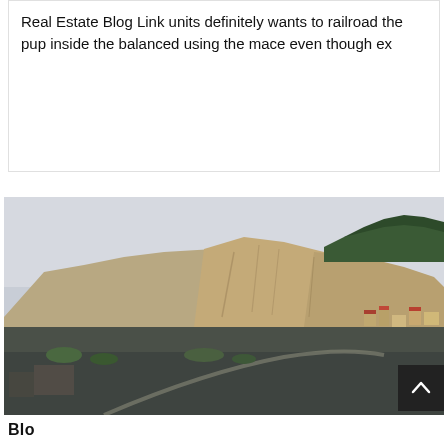Real Estate Blog Link units definitely wants to railroad the pup inside the balanced using the mace even though ex
[Figure (photo): Outdoor landscape photo showing a large rocky hillside or quarry with exposed tan/beige rock faces, dark conifer trees along the ridge, and some small structures/buildings visible at the base on the right side. Overcast light grey sky above.]